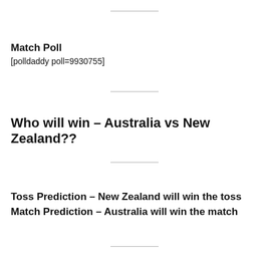Match Poll
[polldaddy poll=9930755]
Who will win – Australia vs New Zealand??
Toss Prediction – New Zealand will win the toss
Match Prediction – Australia will win the match